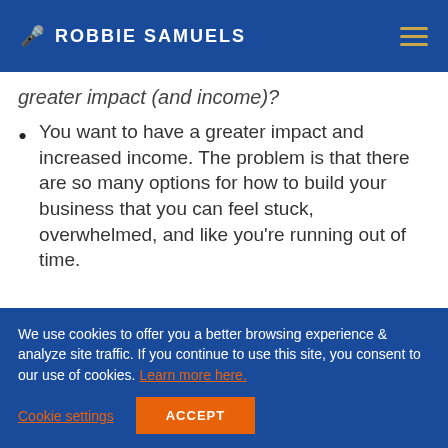🎤 ROBBIE SAMUELS
greater impact (and income)?
You want to have a greater impact and increased income. The problem is that there are so many options for how to build your business that you can feel stuck, overwhelmed, and like you're running out of time.
We use cookies to offer you a better browsing experience & analyze site traffic. If you continue to use this site, you consent to our use of cookies. Learn more here.
Cookie settings   ACCEPT